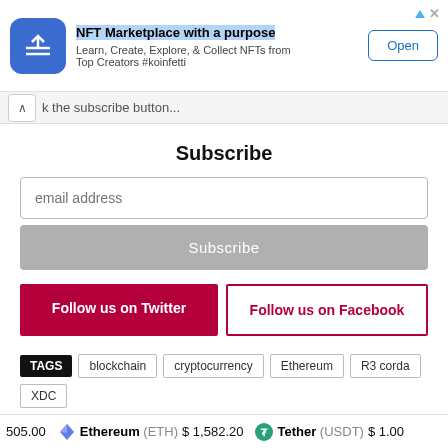[Figure (screenshot): Advertisement banner for NFT Marketplace with a purpose app, showing logo icon, title text highlighted in blue, subtitle text, and an Open button]
...k the subscribe button...
Subscribe
email address
Subscribe
Follow us on Twitter
Follow us on Facebook
TAGS  blockchain  cryptocurrency  Ethereum  R3 corda  XDC
505.00   Ethereum (ETH) $ 1,582.20   Tether (USDT) $ 1.00